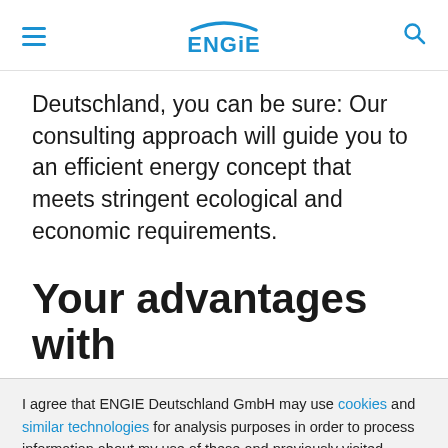ENGIE [logo with hamburger and search icon]
Deutschland, you can be sure: Our consulting approach will guide you to an efficient energy concept that meets stringent ecological and economic requirements.
Your advantages with
I agree that ENGIE Deutschland GmbH may use cookies and similar technologies for analysis purposes in order to process information about my use of these and previously visited websites. Further information can be found on the data protection page. There, I can also revoke my consent at